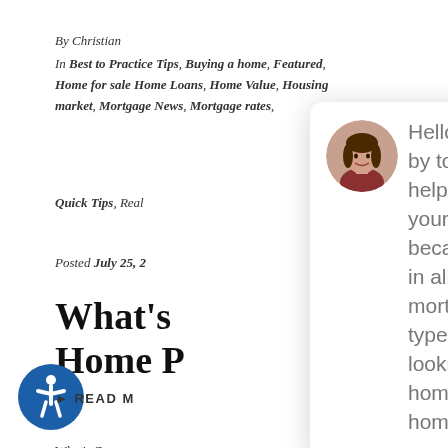By Christian
In Best to Practice Tips, Buying a home, Featured, Home for sale Home Loans, Home Value, Housing market, Mortgage News, Mortgage rates, Quick Tips, Real...
Posted July 25, 2...
What's... Home P...
What's Caus... If you're thi... probably wa... home prices ... say [...]
[Figure (photo): Chat popup overlay with close button, circular avatar photo of a woman, and chat message text: Hello, glad you stopped by today... I am here to help you no matter what your situation is because we specialize in all types of home mortgage loans and all types of buyers. Are you looking to buy a new home or refinance a home?]
[Figure (logo): Accessibility icon — blue circle with wheelchair user symbol]
▶ READ M...
[Figure (illustration): Blue circle chat bubble button in bottom right corner]